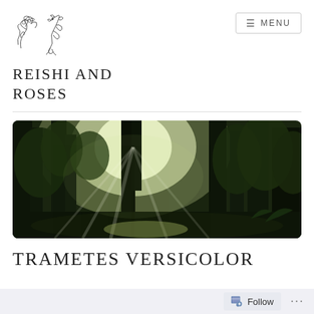[Figure (logo): Reishi and Roses website logo: floral and bird line-art illustration in black and white]
REISHI AND ROSES
[Figure (photo): A forest scene with tall conifer trees and bright sunlight streaming through the canopy, dark foreground with green foliage, panoramic landscape orientation with rounded corners]
TRAMETES VERSICOLOR